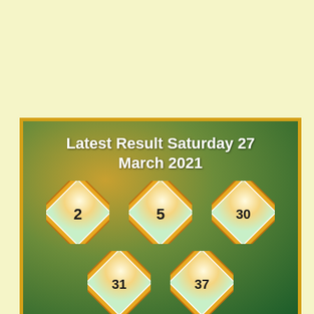[Figure (infographic): Lottery result infographic with green/gold gradient background and diamond-shaped number tiles showing numbers 2, 5, 30, 31, 37. Title reads 'Latest Result Saturday 27 March 2021'.]